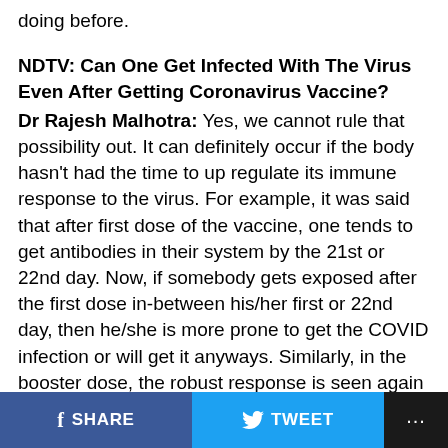doing before.
NDTV: Can One Get Infected With The Virus Even After Getting Coronavirus Vaccine? Dr Rajesh Malhotra: Yes, we cannot rule that possibility out. It can definitely occur if the body hasn't had the time to up regulate its immune response to the virus. For example, it was said that after first dose of the vaccine, one tends to get antibodies in their system by the 21st or 22nd day. Now, if somebody gets exposed after the first dose in-between his/her first or 22nd day, then he/she is more prone to get the COVID infection or will get it anyways. Similarly, in the booster dose, the robust response is seen again after in two-three weeks of the second dose. However, the good news is that, if one gets the COVID infection in-between his/her coronavirus
SHARE   TWEET   ...